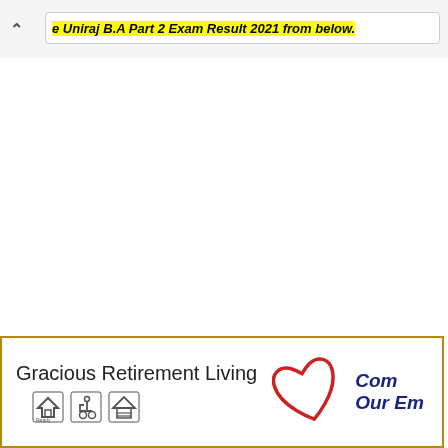e Uniraj B.A Part 2 Exam Result 2021 from below.
[Figure (logo): Gracious Retirement Living advertisement banner with heart logo, accessibility icons, and text 'Com... Our Em...']